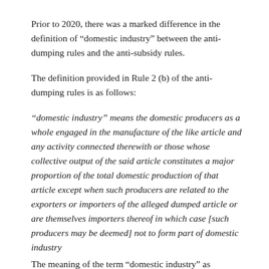Prior to 2020, there was a marked difference in the definition of “domestic industry” between the anti-dumping rules and the anti-subsidy rules.
The definition provided in Rule 2 (b) of the anti-dumping rules is as follows:
“domestic industry” means the domestic producers as a whole engaged in the manufacture of the like article and any activity connected therewith or those whose collective output of the said article constitutes a major proportion of the total domestic production of that article except when such producers are related to the exporters or importers of the alleged dumped article or are themselves importers thereof in which case [such producers may be deemed] not to form part of domestic industry
The meaning of the term “domestic industry” as provided by...